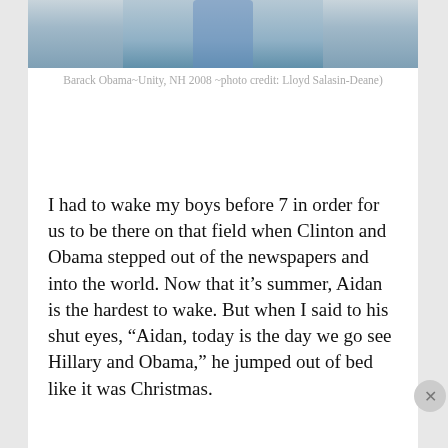[Figure (photo): Partial photo of Barack Obama at Unity, NH 2008 event, cropped showing upper body]
Barack Obama~Unity, NH 2008 ~photo credit: Lloyd Salasin-Deane)
I had to wake my boys before 7 in order for us to be there on that field when Clinton and Obama stepped out of the newspapers and into the world. Now that it’s summer, Aidan is the hardest to wake. But when I said to his shut eyes, “Aidan, today is the day we go see Hillary and Obama,” he jumped out of bed like it was Christmas.
Advertisements
[Figure (screenshot): DuckDuckGo advertisement banner: orange section says 'Search, browse, and email with more privacy. All in One Free App' and dark section shows DuckDuckGo logo]
Advertisements
[Figure (screenshot): Jetpack advertisement: green banner with Jetpack logo on left and 'Secure Your Site' button on right]